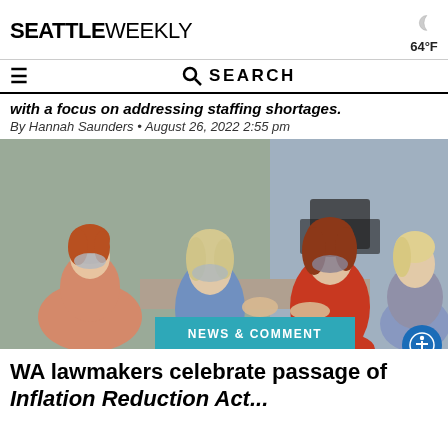SEATTLE WEEKLY | 64°F
SEARCH
with a focus on addressing staffing shortages.
By Hannah Saunders • August 26, 2022 2:55 pm
[Figure (photo): Three women in masks at an office setting, two standing and one seated, engaged in a handshake or interaction. One woman is wearing a red blazer, another a blue shirt. A 'NEWS & COMMENT' teal banner overlays the bottom center of the image.]
WA lawmakers celebrate passage of Inflation Reduction Act...